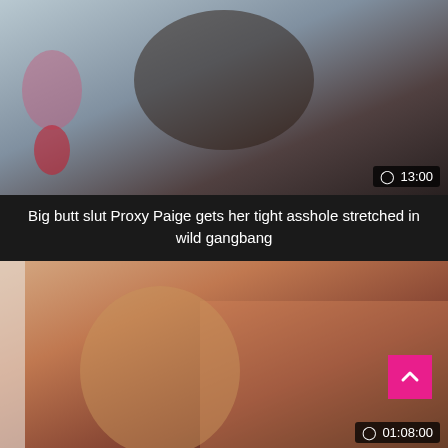[Figure (photo): Video thumbnail showing adult content, with duration badge showing 13:00]
Big butt slut Proxy Paige gets her tight asshole stretched in wild gangbang
[Figure (photo): Video thumbnail showing adult content, with scroll-up button and duration badge showing 01:08:00]
Big Bubble Butt Brazillian Orgy 3 CD1